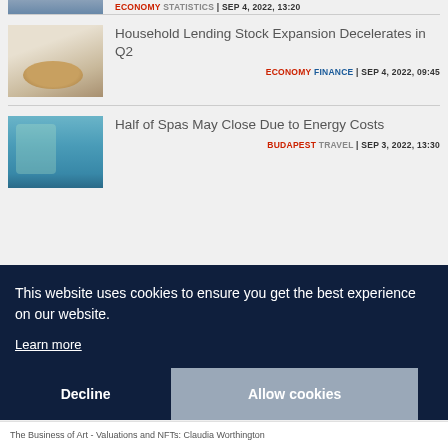ECONOMY STATISTICS | SEP 4, 2022, 13:20
[Figure (photo): Thumbnail photo of stacked coins]
Household Lending Stock Expansion Decelerates in Q2
ECONOMY FINANCE | SEP 4, 2022, 09:45
[Figure (photo): Thumbnail photo of person in spa pool]
Half of Spas May Close Due to Energy Costs
BUDAPEST TRAVEL | SEP 3, 2022, 13:30
This website uses cookies to ensure you get the best experience on our website. Learn more
The Business of Art - Valuations and NFTs: Claudia Worthington